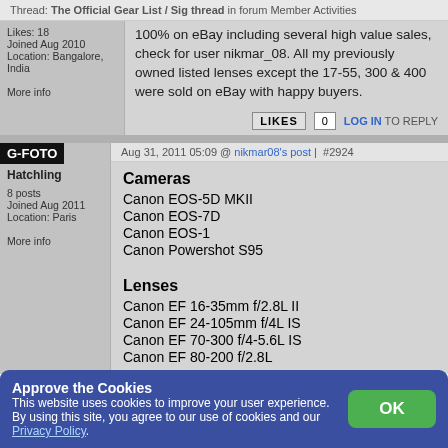Thread: The Official Gear List / Sig thread in forum Member Activities
100% on eBay including several high value sales, check for user nikmar_08. All my previously owned listed lenses except the 17-55, 300 & 400 were sold on eBay with happy buyers.
LIKES 0  LOG IN TO REPLY
G-FOTO
Hatchling
8 posts
Joined Aug 2011
Location: Paris
More info
Aug 31, 2011 05:09 @ nikmar08's post | #2924
Cameras
Canon EOS-5D MKII
Canon EOS-7D
Canon EOS-1
Canon Powershot S95
Lenses
Canon EF 16-35mm f/2.8L II
Canon EF 24-105mm f/4L IS
Canon EF 70-300 f/4-5.6L IS
Canon EF 80-200 f/2.8L
Approve the Cookies
This website uses cookies to improve your user experience. By using this site, you agree to our use of cookies and our Privacy Policy.